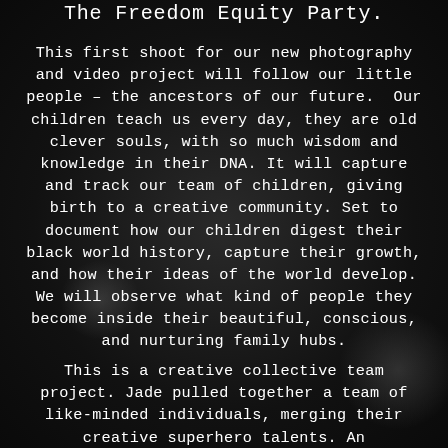The Freedom Equity Party.
This first shoot for our new photography and video project will follow our little people – the ancestors of our future.  Our children teach us every day, they are old clever souls, with so much wisdom and knowledge in their DNA. It will capture and track our team of children, giving birth to a creative community. Set to document how our children digest their black world history, capture their growth, and how their ideas of the world develop. We will observe what kind of people they become inside their beautiful, conscious, and nurturing family hubs.
This is a creative collective team project. Jade pulled together a team of like-minded individuals, merging their creative superhero talents. An